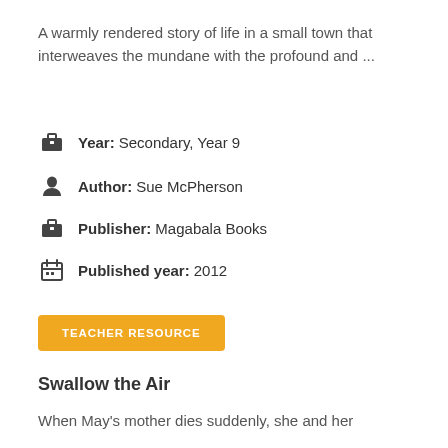A warmly rendered story of life in a small town that interweaves the mundane with the profound and ...
Year: Secondary, Year 9
Author: Sue McPherson
Publisher: Magabala Books
Published year: 2012
TEACHER RESOURCE
Swallow the Air
When May's mother dies suddenly, she and her